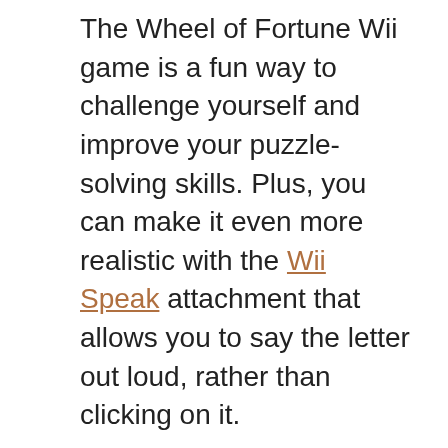The Wheel of Fortune Wii game is a fun way to challenge yourself and improve your puzzle-solving skills. Plus, you can make it even more realistic with the Wii Speak attachment that allows you to say the letter out loud, rather than clicking on it.
What We Love About Wheel of Fortune
This Wii game is one of America's favorite trivia games and offers